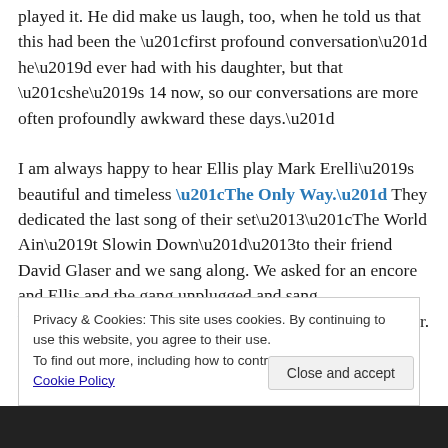played it. He did make us laugh, too, when he told us that this had been the “first profound conversation” he’d ever had with his daughter, but that “she’s 14 now, so our conversations are more often profoundly awkward these days.”

I am always happy to hear Ellis play Mark Erelli’s beautiful and timeless “The Only Way.” They dedicated the last song of their set–“The World Ain’t Slowin Down”–to their friend David Glaser and we sang along. We asked for an encore and Ellis and the gang unplugged and sang “Annalee” from within the crowd on the floor. It was the
Privacy & Cookies: This site uses cookies. By continuing to use this website, you agree to their use.
To find out more, including how to control cookies, see here: Cookie Policy
Close and accept